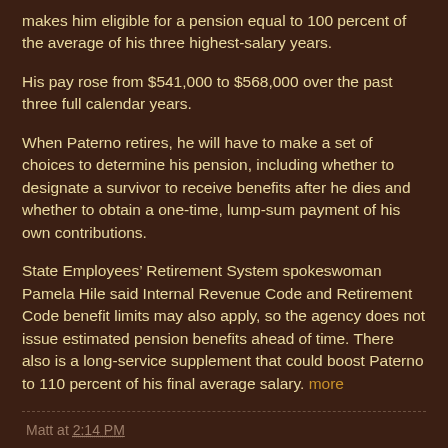makes him eligible for a pension equal to 100 percent of the average of his three highest-salary years.
His pay rose from $541,000 to $568,000 over the past three full calendar years.
When Paterno retires, he will have to make a set of choices to determine his pension, including whether to designate a survivor to receive benefits after he dies and whether to obtain a one-time, lump-sum payment of his own contributions.
State Employees’ Retirement System spokeswoman Pamela Hile said Internal Revenue Code and Retirement Code benefit limits may also apply, so the agency does not issue estimated pension benefits ahead of time. There also is a long-service supplement that could boost Paterno to 110 percent of his final average salary. more
Matt at 2:14 PM
Share